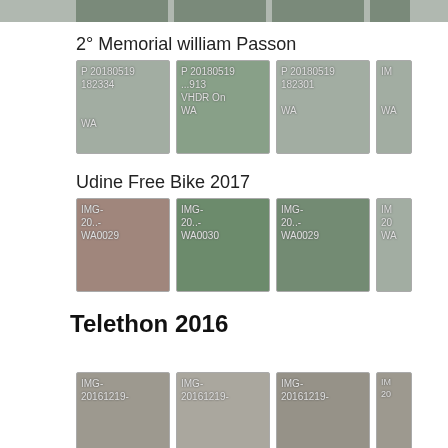[Figure (photo): Partial top strip showing cropped photo thumbnails]
2° Memorial william Passon
[Figure (photo): Thumbnail: P 20180519 182334 WA]
[Figure (photo): Thumbnail: P 20180519 ...913 VHDR On WA]
[Figure (photo): Thumbnail: P 20180519 182301 WA]
[Figure (photo): Partial thumbnail: IMG- WA]
Udine Free Bike 2017
[Figure (photo): Thumbnail: IMG- 20.. WA0029]
[Figure (photo): Thumbnail: IMG- 20.. WA0030]
[Figure (photo): Thumbnail: IMG- 20.. WA0029]
[Figure (photo): Partial thumbnail IMG- 20 WA]
Telethon 2016
[Figure (photo): Thumbnail: IMG- 20161219-]
[Figure (photo): Thumbnail: IMG- 20161219-]
[Figure (photo): Thumbnail: IMG- 20161219-]
[Figure (photo): Partial thumbnail IMG- 20]